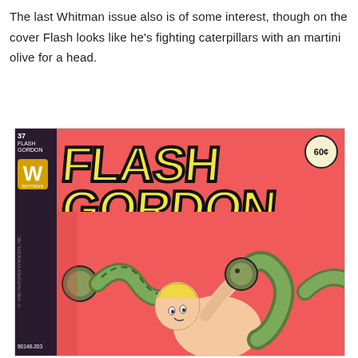The last Whitman issue also is of some interest, though on the cover Flash looks like he's fighting caterpillars with an martini olive for a head.
[Figure (illustration): Cover of Flash Gordon comic book #37 by Whitman (90148-203), priced at 60 cents. Red/salmon background with large yellow bold 'FLASH GORDON' title text outlined in black. Bottom left shows Flash Gordon character (blonde hero) being wrapped by large green serpent plant coils with olive/bulb-tipped ends. Text reads 'Will Flash perish in the treacherous coils of the Serpent Plants?' Whitman logo on left spine strip.]